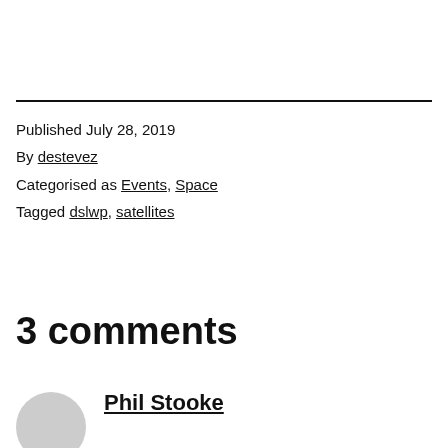Published July 28, 2019
By destevez
Categorised as Events, Space
Tagged dslwp, satellites
3 comments
Phil Stooke